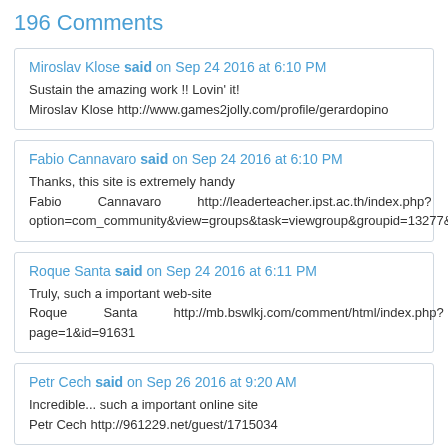196 Comments
Miroslav Klose said on Sep 24 2016 at 6:10 PM
Sustain the amazing work !! Lovin' it!
Miroslav Klose http://www.games2jolly.com/profile/gerardopino
Fabio Cannavaro said on Sep 24 2016 at 6:10 PM
Thanks, this site is extremely handy
Fabio Cannavaro http://leaderteacher.ipst.ac.th/index.php?option=com_community&view=groups&task=viewgroup&groupid=13277&Item
Roque Santa said on Sep 24 2016 at 6:11 PM
Truly, such a important web-site
Roque Santa http://mb.bswlkj.com/comment/html/index.php?page=1&id=91631
Petr Cech said on Sep 26 2016 at 9:20 AM
Incredible... such a important online site
Petr Cech http://961229.net/guest/1715034